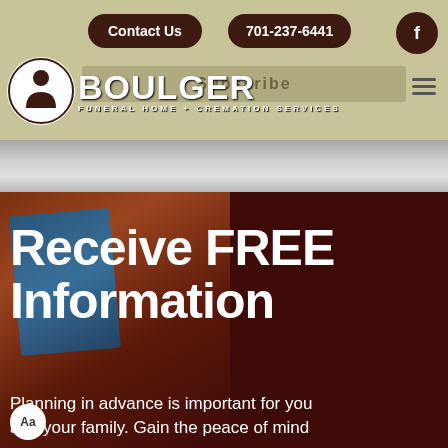Contact Us | 701-237-6441 | Facebook | Subscribe
[Figure (logo): Boulger Funeral Home + Cremation Services logo — circular icon with white silhouette figure on dark background, beside large BOULGER text]
Receive FREE Information
Planning in advance is important for you and your family. Gain the peace of mind